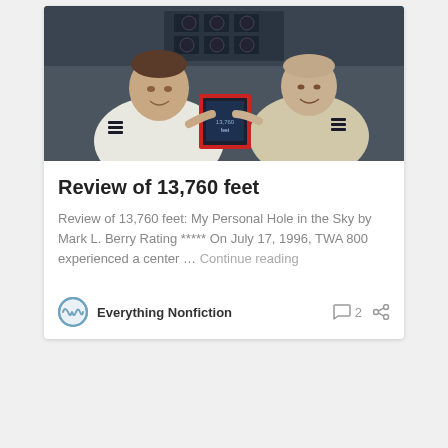[Figure (photo): Two pilots in uniform inside a cockpit holding a book, surrounded by instrument panels]
Review of 13,760 feet
Review of 13,760 feet: My Personal Hole in the Sky by Mark L. Berry Rating ***** On July 17, 1996, TWA 800 experienced a center … Continue reading
Everything Nonfiction  2